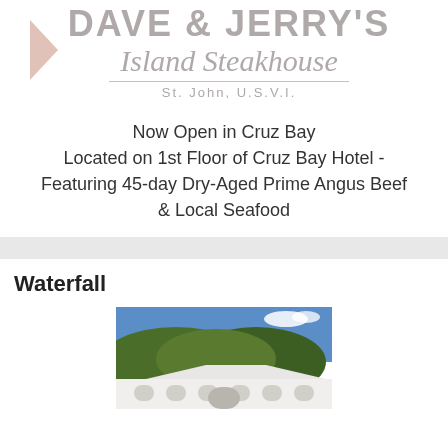[Figure (logo): Dave & Jerry's Island Steakhouse logo with script text and triangle graphic, St. John, U.S.V.I.]
Now Open in Cruz Bay
Located on 1st Floor of Cruz Bay Hotel -
Featuring 45-day Dry-Aged Prime Angus Beef
& Local Seafood
Waterfall
[Figure (photo): Exterior photo of a white building with arched windows and green hillside in the background under a blue sky]